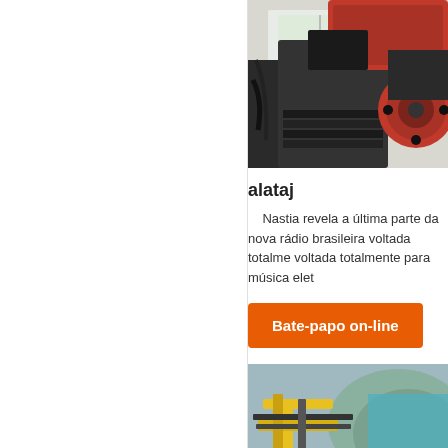[Figure (photo): Industrial machine with red and black components, flywheel visible, indoor setting with window in background]
alataj
Nastia revela a última parte da nova rádio brasileira voltada totalmente para música eletrônica voltada totalmente para música elet
Bate-papo on-line
[Figure (photo): Industrial construction or mining scene with yellow heavy equipment, workers, and blue/teal background elements]